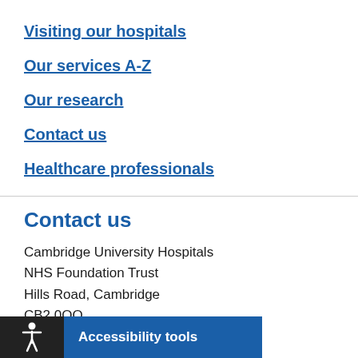Visiting our hospitals
Our services A-Z
Our research
Contact us
Healthcare professionals
Contact us
Cambridge University Hospitals
NHS Foundation Trust
Hills Road, Cambridge
CB2 0QQ
Telephone: 01223 805000
Accessibility tools